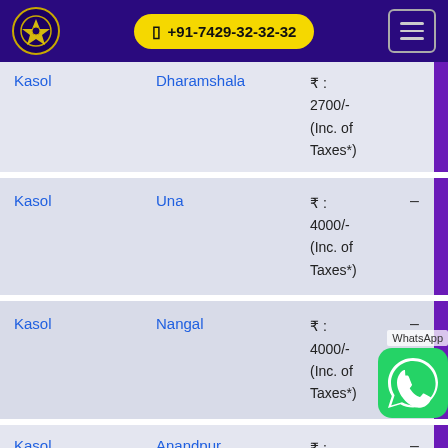+91-7429-32-32-32
| From | To | Price |  |  |
| --- | --- | --- | --- | --- |
| Kasol | Dharamshala | ₹ : 2700/- (Inc. of Taxes*) |  |  |
| Kasol | Una | ₹ : 4000/- (Inc. of Taxes*) | – |  |
| Kasol | Nangal | ₹ : 4000/- (Inc. of Taxes*) | – |  |
| Kasol | Anandpur Sahib | ₹ : 4000/- | – |  |